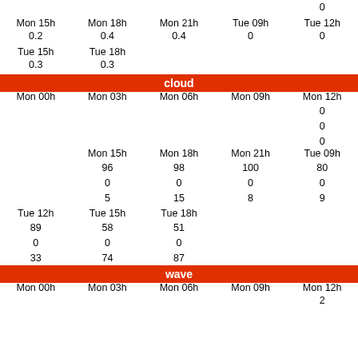0
Mon 15h  Mon 18h  Mon 21h  Tue 09h  Tue 12h
0.2  0.4  0.4  0  0
Tue 15h  Tue 18h
0.3  0.3
cloud
Mon 00h  Mon 03h  Mon 06h  Mon 09h  Mon 12h
0
0
0
Mon 15h  Mon 18h  Mon 21h  Tue 09h
96  98  100  80
0  0  0  0
5  15  8  9
Tue 12h  Tue 15h  Tue 18h
89  58  51
0  0  0
33  74  87
wave
Mon 00h  Mon 03h  Mon 06h  Mon 09h  Mon 12h
2